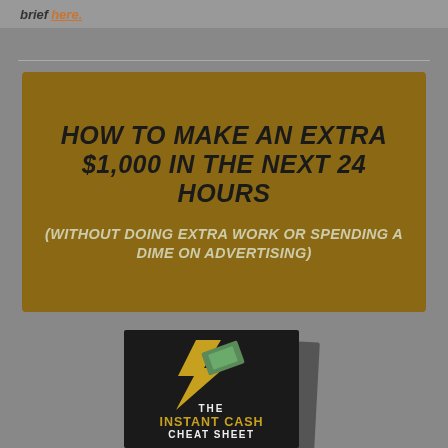brief here.
[Figure (illustration): Gold/dark-yellow banner box with bold italic text: 'HOW TO MAKE AN EXTRA $1,000 IN THE NEXT 24 HOURS' and lighter italic subtitle '(WITHOUT DOING EXTRA WORK OR SPENDING A DIME ON ADVERTISING)']
[Figure (illustration): Book cover for 'THE INSTANT CASH CHEAT SHEET' — dark/black cover with gold lightning bolt and money graphic, shown slightly tilted with a shadow behind it]